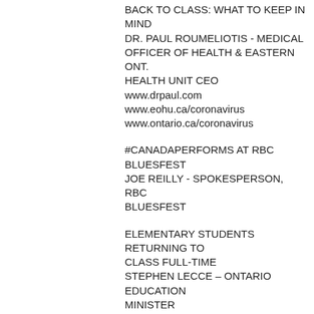BACK TO CLASS: WHAT TO KEEP IN MIND
DR. PAUL ROUMELIOTIS - MEDICAL OFFICER OF HEALTH & EASTERN ONT. HEALTH UNIT CEO
www.drpaul.com
www.eohu.ca/coronavirus
www.ontario.ca/coronavirus
#CANADAPERFORMS AT RBC BLUESFEST
JOE REILLY - SPOKESPERSON, RBC BLUESFEST
ELEMENTARY STUDENTS RETURNING TO CLASS FULL-TIME
STEPHEN LECCE – ONTARIO EDUCATION MINISTER
COUNTDOWN TO STANLEY CUP QUALIFIERS
IAN MENDES - TSN 1200
COPING WITH DEBT: RESOLUTION RESET
MARC ROULEAU - DOYLE SALEWSKI INC. VICE PRESIDENT